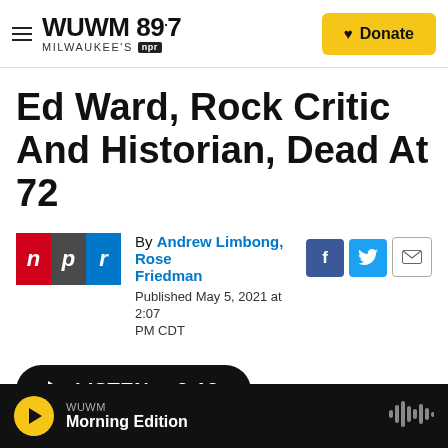WUWM 89.7 Milwaukee's NPR — Donate
Ed Ward, Rock Critic And Historian, Dead At 72
By Andrew Limbong, Rose Friedman
Published May 5, 2021 at 2:07 PM CDT
[Figure (logo): NPR logo with red N, grey P, blue R boxes]
[Figure (infographic): Social sharing icons: Facebook (blue f), Twitter (blue bird), Email (envelope)]
LISTEN • 3:13
WUWM Morning Edition